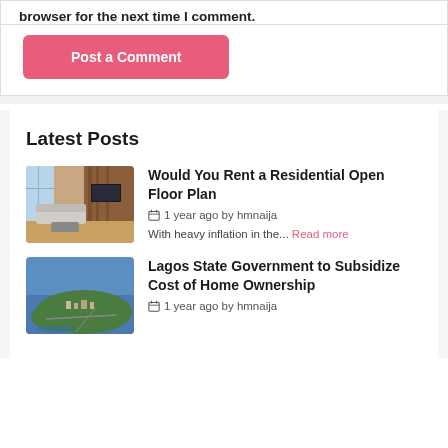browser for the next time I comment.
Post a Comment
Latest Posts
[Figure (photo): Interior of a modern open floor plan living room with large windows, a sofa, coffee table, and wooden wall panels]
Would You Rent a Residential Open Floor Plan
1 year ago by hmnaija
With heavy inflation in the... Read more
[Figure (photo): Aerial view of Lagos State showing a coastal area with buildings, water, and green spaces]
Lagos State Government to Subsidize Cost of Home Ownership
1 year ago by hmnaija